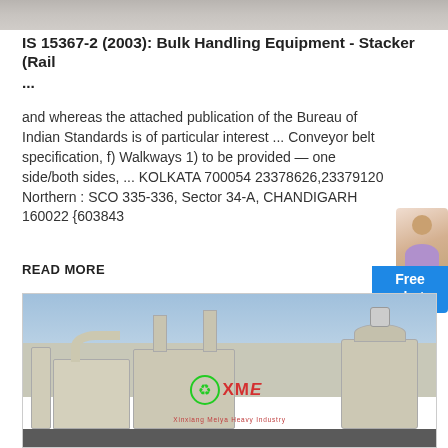[Figure (photo): Top cropped photo of industrial conveyor/stacker equipment, partially visible at top of page]
IS 15367-2 (2003): Bulk Handling Equipment - Stacker (Rail ...
and whereas the attached publication of the Bureau of Indian Standards is of particular interest ... Conveyor belt specification, f) Walkways 1) to be provided — one side/both sides, ... KOLKATA 700054 23378626,23379120 Northern : SCO 335-336, Sector 34-A, CHANDIGARH 160022 {603843
READ MORE
[Figure (photo): Photo of industrial dust collection or air pollution control equipment — beige/cream colored tanks, pipes, and industrial machinery with XME logo watermark, against sky background]